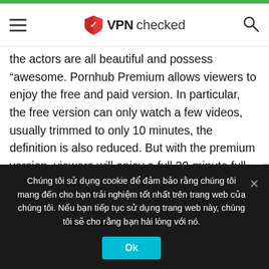VPNchecked
the actors are all beautiful and possess “awesome. Pornhub Premium allows viewers to enjoy the free and paid version. In particular, the free version can only watch a few videos, usually trimmed to only 10 minutes, the definition is also reduced. But with the premium version, viewers will enjoy a full 20-minute full-length video of famous porn studios such as Brazzers, Vixen, Team Skeet, Teen Fidelity, Fake Taxi, Hentai. xxx, Reality Kings, Nubile Films, Digital Playground … Besides, you are also free to download
Chúng tôi sử dụng cookie để đảm bảo rằng chúng tôi mang đến cho bạn trải nghiệm tốt nhất trên trang web của chúng tôi. Nếu bạn tiếp tục sử dụng trang web này, chúng tôi sẽ cho rằng bạn hài lòng với nó.